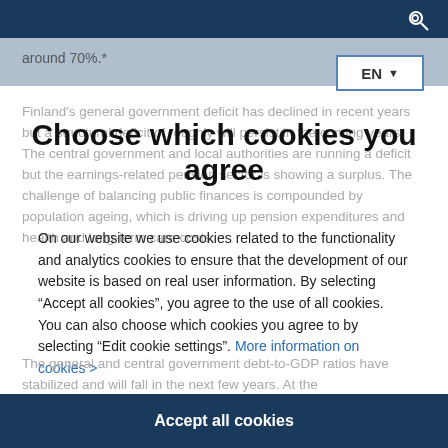around 70%.*
Choose which cookies you agree
On our website we use cookies related to the functionality and analytics cookies to ensure that the development of our website is based on real user information. By selecting “Accept all cookies”, you agree to the use of all cookies. You can also choose which cookies you agree to by selecting “Edit cookie settings”. More information on cookies >
Finland’s general government deficit has declined in recent years but a structural deficit of roughly will persist in the coming years. The central government and local authorities are running a deficit but the earnings-related pension sector is showing a surplus. The challenge of balancing public finances is compounded by population ageing, which is driving up pension expenditures and health and long-term care costs.
The general and central government debt-to-GDP ratios have stabilized and will fall in the next few years. At the
Accept all cookies